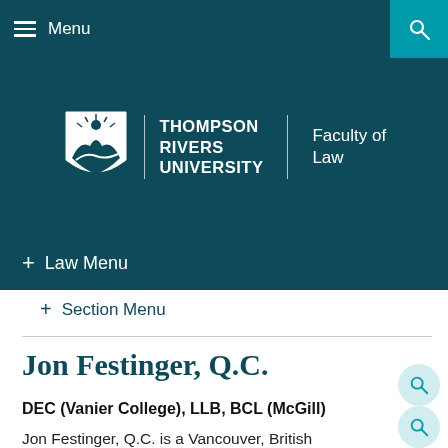Menu
[Figure (logo): Thompson Rivers University Faculty of Law logo with shield emblem]
+ Law Menu
+ Section Menu
Jon Festinger, Q.C.
DEC (Vanier College), LLB, BCL (McGill)
Jon Festinger, Q.C. is a Vancouver, British